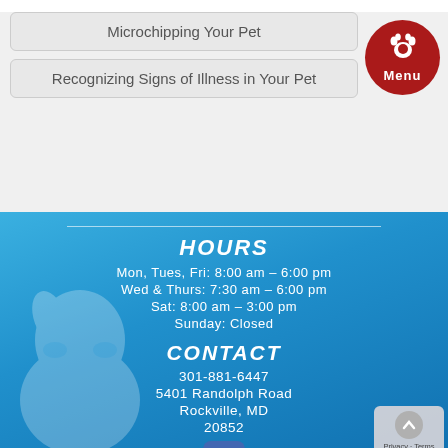Microchipping Your Pet
Recognizing Signs of Illness in Your Pet
[Figure (logo): Red circular menu button with paw print icon and text Menu]
HOURS
Mon, Tues, Fri: 8:00 am - 6:00 pm
Wed & Thurs: 7:30 am - 6:00 pm
Sat: 8:00 am - 3:00 pm
Sunday: Closed
CONTACT
301-881-6447
5401 Randolph Road
Rockville, MD
20852
[Figure (logo): Facebook icon with red paw print overlay]